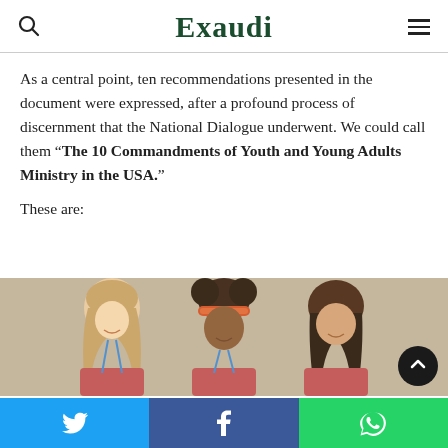Exaudi
As a central point, ten recommendations presented in the document were expressed, after a profound process of discernment that the National Dialogue underwent. We could call them “The 10 Commandments of Youth and Young Adults Ministry in the USA.”
These are:
[Figure (photo): Three young girls smiling together, wearing red/pink shirts, one with a colorful headband, photographed from slightly above in a friendly group pose.]
Twitter share | Facebook share | WhatsApp share